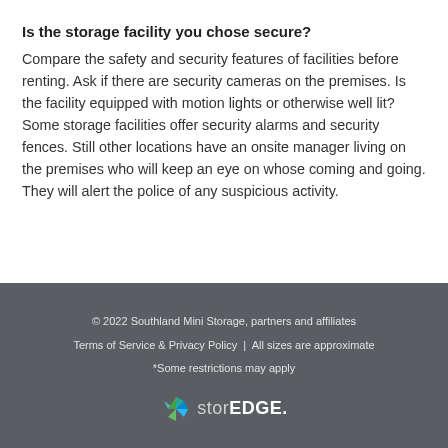Is the storage facility you chose secure?
Compare the safety and security features of facilities before renting. Ask if there are security cameras on the premises. Is the facility equipped with motion lights or otherwise well lit? Some storage facilities offer security alarms and security fences. Still other locations have an onsite manager living on the premises who will keep an eye on whose coming and going. They will alert the police of any suspicious activity.
© 2022 Southland Mini Storage, partners and affiliates
Terms of Service & Privacy Policy  |  All sizes are approximate
*Some restrictions may apply
[Figure (logo): storEDGE logo with a geometric green/blue shape icon]